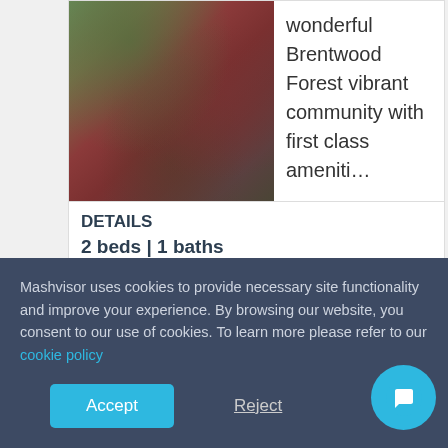[Figure (photo): Exterior photo of a property in Brentwood Forest community, showing trees and reddish foliage]
wonderful Brentwood Forest vibrant community with first class ameniti...
DETAILS
2 beds  |  1 baths
967  sq.ft.
SALE PRICE
Mashvisor uses cookies to provide necessary site functionality and improve your experience. By browsing our website, you consent to our use of cookies. To learn more please refer to our cookie policy
Accept
Reject